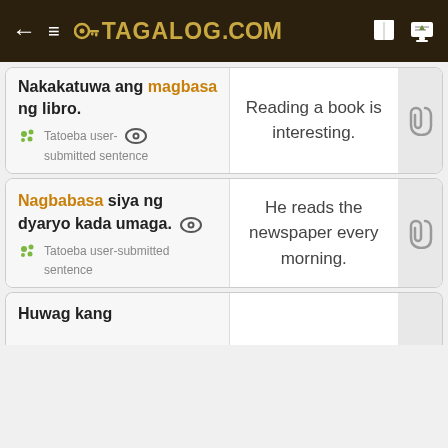TAGALOG.COM
Nakakatuwa ang magbasa ng libro. — Reading a book is interesting. Tatoeba user-submitted sentence
Nagbabasa siya ng dyaryo kada umaga. — He reads the newspaper every morning. Tatoeba user-submitted sentence
Huwag kang...